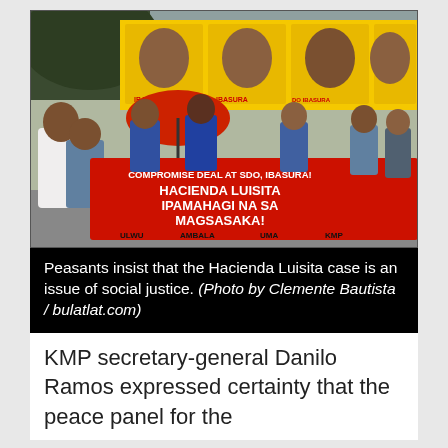[Figure (photo): Protesters marching in the street holding a large red banner reading 'COMPROMISE DEAL AT SDO, IBASURA! HACIENDA LUISITA IPAMAHAGI NA SA MAGSASAKA!' with logos ULWU, AMBALA, UMA, KMP. Yellow posters with faces of politicians in the background, red umbrella visible.]
Peasants insist that the Hacienda Luisita case is an issue of social justice. (Photo by Clemente Bautista / bulatlat.com)
KMP secretary-general Danilo Ramos expressed certainty that the peace panel for the